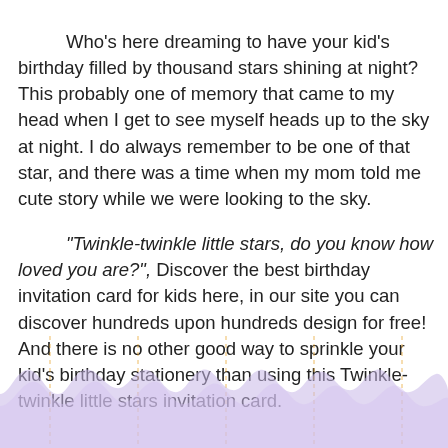Who’s here dreaming to have your kid’s birthday filled by thousand stars shining at night? This probably one of memory that came to my head when I get to see myself heads up to the sky at night. I do always remember to be one of that star, and there was a time when my mom told me cute story while we were looking to the sky.

“Twinkle-twinkle little stars, do you know how loved you are?”, Discover the best birthday invitation card for kids here, in our site you can discover hundreds upon hundreds design for free! And there is no other good way to sprinkle your kid’s birthday stationery than using this Twinkle-twinkle little stars invitation card.
[Figure (illustration): Decorative wave/scallop border at the bottom of the page with light purple/lavender color and dashed orange vertical lines.]